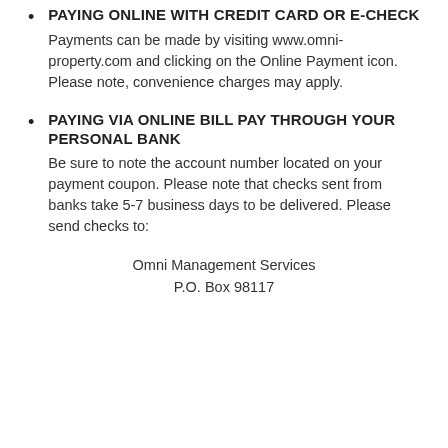PAYING ONLINE WITH CREDIT CARD OR E-CHECK
Payments can be made by visiting www.omni-property.com and clicking on the Online Payment icon. Please note, convenience charges may apply.
PAYING VIA ONLINE BILL PAY THROUGH YOUR PERSONAL BANK
Be sure to note the account number located on your payment coupon. Please note that checks sent from banks take 5-7 business days to be delivered. Please send checks to:
Omni Management Services
P.O. Box 98117